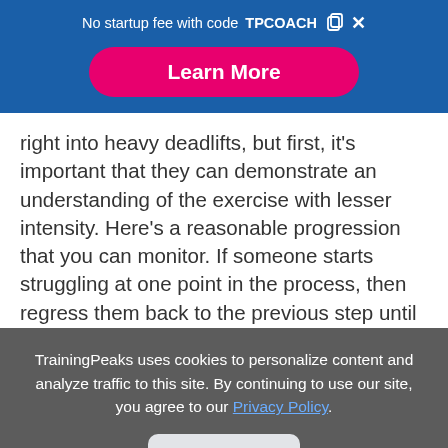No startup fee with code TPCOACH
Learn More
right into heavy deadlifts, but first, it's important that they can demonstrate an understanding of the exercise with lesser intensity. Here's a reasonable progression that you can monitor. If someone starts struggling at one point in the process, then regress them back to the previous step until they've gotten it down. It's worth
TrainingPeaks uses cookies to personalize content and analyze traffic to this site. By continuing to use our site, you agree to our Privacy Policy.
Close